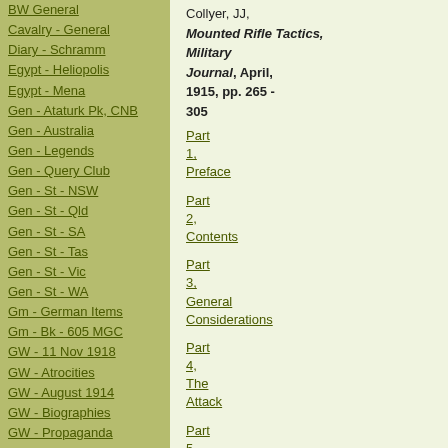BW General
Cavalry - General
Diary - Schramm
Egypt - Heliopolis
Egypt - Mena
Gen - Ataturk Pk, CNB
Gen - Australia
Gen - Legends
Gen - Query Club
Gen - St - NSW
Gen - St - Qld
Gen - St - SA
Gen - St - Tas
Gen - St - Vic
Gen - St - WA
Gm - German Items
Gm - Bk - 605 MGC
GW - 11 Nov 1918
GW - Atrocities
GW - August 1914
GW - Biographies
GW - Propaganda
GW - Spies
GW - We forgot
Militia 1899-1920
Militia - Area Officers
Militia - Inf - Infantry
Militia - Inf - 1IB
Collyer, JJ, Mounted Rifle Tactics, Military Journal, April, 1915, pp. 265 - 305
Part 1, Preface
Part 2, Contents
Part 3, General Considerations
Part 4, The Attack
Part 5, Defence